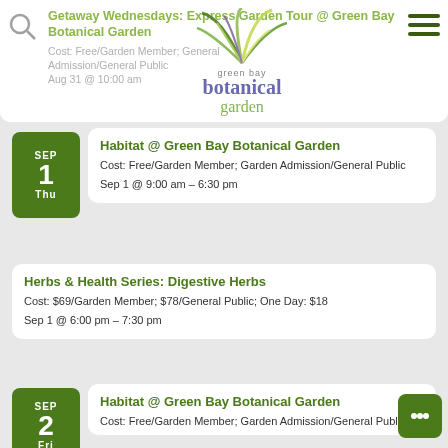Getaway Wednesdays: Express Garden Tour @ Green Bay Botanical Garden
Cost: Free/Garden Member; General Admission/General Public
Aug 31 @ 10:00 am
[Figure (logo): Green Bay Botanical Garden logo with colorful plant fronds and text 'green bay botanical garden']
SEP 1 Thu
Habitat @ Green Bay Botanical Garden
Cost: Free/Garden Member; Garden Admission/General Public
Sep 1 @ 9:00 am – 6:30 pm
Herbs & Health Series: Digestive Herbs
Cost: $69/Garden Member; $78/General Public; One Day: $18
Sep 1 @ 6:00 pm – 7:30 pm
SEP 2 Fri
Habitat @ Green Bay Botanical Garden
Cost: Free/Garden Member; Garden Admission/General Public